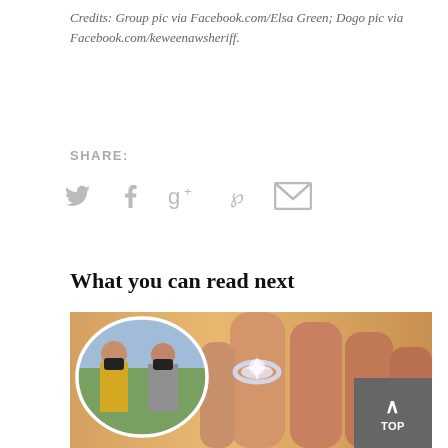Credits: Group pic via Facebook.com/Elsa Green; Dogo pic via Facebook.com/keweenawsheriff.
SHARE:
[Figure (infographic): Social share icons: Twitter bird, Facebook f, Google g+, Pinterest p, Email envelope — all in light gray]
What you can read next
[Figure (photo): Main background photo of a close-up hand wearing a diamond engagement ring on a yellow background. An oval inset shows two people wearing face masks exchanging something outdoors on a sidewalk.]